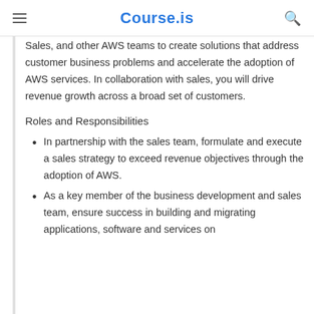Course.is
Sales, and other AWS teams to create solutions that address customer business problems and accelerate the adoption of AWS services. In collaboration with sales, you will drive revenue growth across a broad set of customers.
Roles and Responsibilities
In partnership with the sales team, formulate and execute a sales strategy to exceed revenue objectives through the adoption of AWS.
As a key member of the business development and sales team, ensure success in building and migrating applications, software and services on